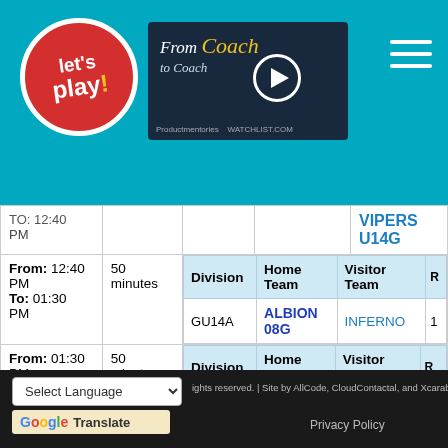[Figure (logo): Let's Play! logo — red circle with white text on teal header background]
[Figure (screenshot): Video thumbnail showing 'From Crash to Coach' documentary with play button]
|  |  | Division | Home Team | Visitor Team | R |
| --- | --- | --- | --- | --- | --- |
|  |  |  |  | VIPERS U14G |  |
| From: 12:40 PM To: 01:30 PM | 50 minutes | GU14A | ALBION 08G | INFERNO | 1 |
| From: 01:30 PM ... | 50 minutes | Division | Home Team | Visitor Team | R |
rights reserved. | Site by AllCode, CloudContactal, and Xcarab    Privacy Policy